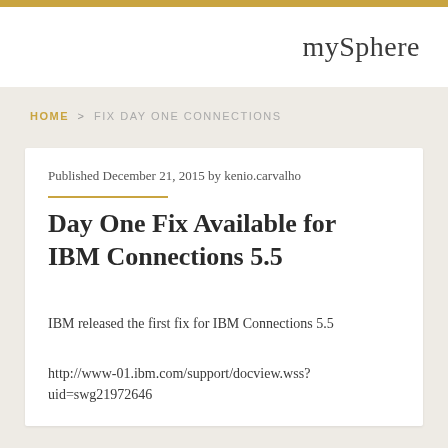mySphere
HOME > FIX DAY ONE CONNECTIONS
Published December 21, 2015 by kenio.carvalho
Day One Fix Available for IBM Connections 5.5
IBM released the first fix for IBM Connections 5.5
http://www-01.ibm.com/support/docview.wss?uid=swg21972646